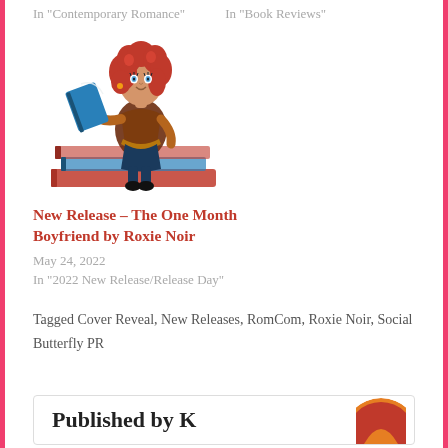In "Contemporary Romance"    In "Book Reviews"
[Figure (illustration): Cartoon illustration of a red-haired woman in a superhero costume sitting on a stack of books and reading a blue book]
New Release – The One Month Boyfriend by Roxie Noir
May 24, 2022
In "2022 New Release/Release Day"
Tagged Cover Reveal, New Releases, RomCom, Roxie Noir, Social Butterfly PR
Published by K